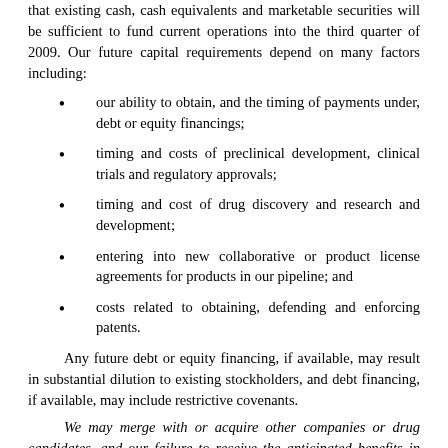that existing cash, cash equivalents and marketable securities will be sufficient to fund current operations into the third quarter of 2009. Our future capital requirements depend on many factors including:
our ability to obtain, and the timing of payments under, debt or equity financings;
timing and costs of preclinical development, clinical trials and regulatory approvals;
timing and cost of drug discovery and research and development;
entering into new collaborative or product license agreements for products in our pipeline; and
costs related to obtaining, defending and enforcing patents.
Any future debt or equity financing, if available, may result in substantial dilution to existing stockholders, and debt financing, if available, may include restrictive covenants.
We may merge with or acquire other companies or drug candidates, and our failure to receive the anticipated benefits in these transactions could harm our business.
We are actively seeking strategic opportunities, which may include a merger or acquisition, among other things. The success of any merger or acquisition depends, in part, on our ability to realize the anticipated synergies, cost savings